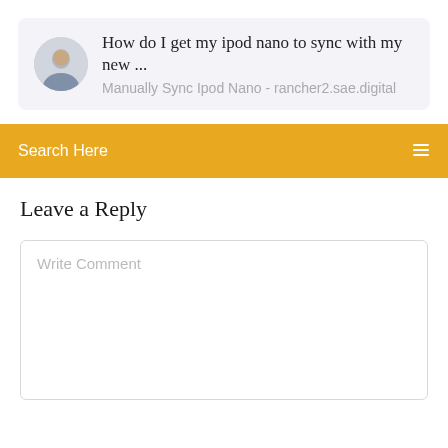[Figure (other): Search result card with circular avatar photo of a man and text showing a question about iPod Nano syncing with a subtitle showing the source website]
How do I get my ipod nano to sync with my new ...
Manually Sync Ipod Nano - rancher2.sae.digital
Search Here
Leave a Reply
Write Comment